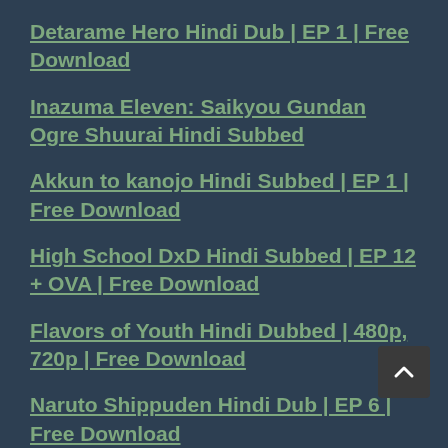Detarame Hero Hindi Dub | EP 1 | Free Download
Inazuma Eleven: Saikyou Gundan Ogre Shuurai Hindi Subbed
Akkun to kanojo Hindi Subbed | EP 1 | Free Download
High School DxD Hindi Subbed | EP 12 + OVA | Free Download
Flavors of Youth Hindi Dubbed | 480p, 720p | Free Download
Naruto Shippuden Hindi Dub | EP 6 | Free Download
Inazuma Eleven Go Hindi Sub
Inazuma Eleven Go Chrono Stone Hindi Sub
Lupin The 3rd Hindi Dub | 480p, 720p | Free